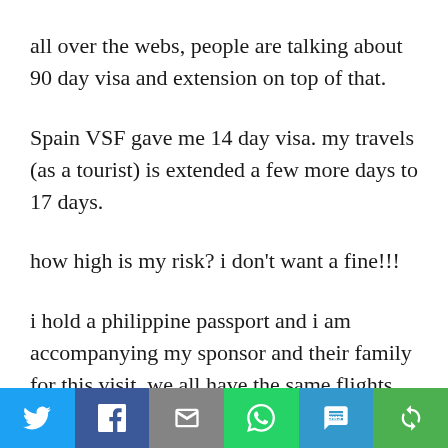all over the webs, people are talking about 90 day visa and extension on top of that.
Spain VSF gave me 14 day visa. my travels (as a tourist) is extended a few more days to 17 days.
how high is my risk? i don’t want a fine!!!
i hold a philippine passport and i am accompanying my sponsor and their family for this visit. we all have the same flights, hotel bookings etc. my sponsor is american and they do
[Figure (infographic): Social sharing bar with six buttons: Twitter (blue bird icon), Facebook (dark blue f icon), Email (grey envelope icon), WhatsApp (green phone icon), SMS (blue SMS badge icon), More (green circular arrow icon)]